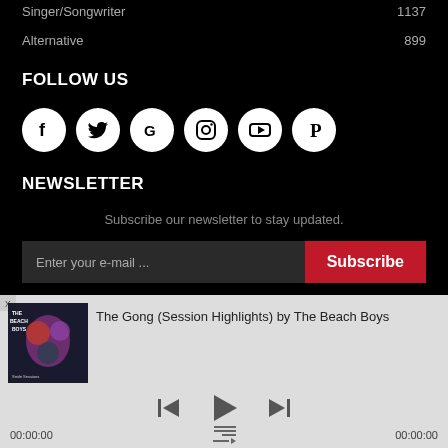Singer/Songwriter  1137
Alternative  899
FOLLOW US
[Figure (infographic): Six social media icon circles (Facebook, Twitter, Google, Instagram, YouTube, Pinterest) in white on black background]
NEWSLETTER
Subscribe our newsletter to stay updated.
Enter your e-mail ...  Subscribe
The Gong (Session Highlights) by The Beach Boys
[Figure (photo): Beach Boys album art cover with band member photos]
00:00:00  00:00:00